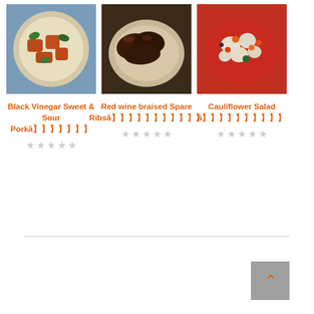[Figure (photo): Photo of Black Vinegar Sweet and Sour Pork dish on a white plate with green peppers and vegetables]
Black Vinegar Sweet & Sour Porkã】】】】】】】
[Figure (photo): Photo of Red wine braised Spare Ribs, dark glazed ribs on a white plate]
Red wine braised Spare Ribsã】】】】】】】】】】】
[Figure (photo): Photo of Cauliflower Salad with colorful vegetables in a red bowl]
Cauliflower Salad ã】】】】】】】】】】